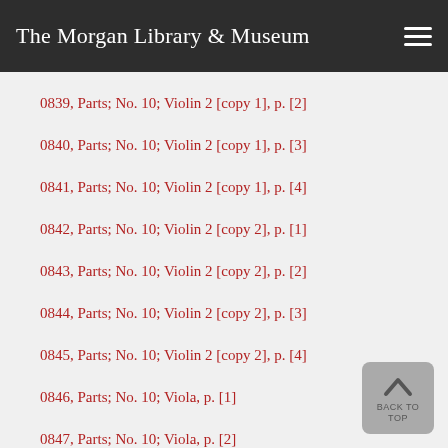The Morgan Library & Museum
0839, Parts; No. 10; Violin 2 [copy 1], p. [2]
0840, Parts; No. 10; Violin 2 [copy 1], p. [3]
0841, Parts; No. 10; Violin 2 [copy 1], p. [4]
0842, Parts; No. 10; Violin 2 [copy 2], p. [1]
0843, Parts; No. 10; Violin 2 [copy 2], p. [2]
0844, Parts; No. 10; Violin 2 [copy 2], p. [3]
0845, Parts; No. 10; Violin 2 [copy 2], p. [4]
0846, Parts; No. 10; Viola, p. [1]
0847, Parts; No. 10; Viola, p. [2]
0848, Parts; No. 10; Viola, p. [3]